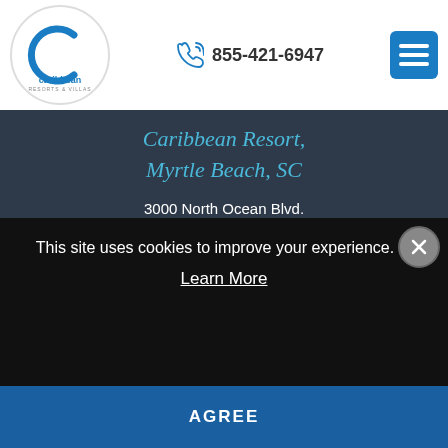[Figure (logo): Caribbean Resorts & Villas logo — blue C letter with 'caribbean' text in a white circle]
855-421-6947
[Figure (illustration): Menu hamburger icon on blue square button]
Caribbean Resort, Myrtle Beach, SC
3000 North Ocean Blvd.
Myrtle Beach, SC 29577
[Figure (illustration): Social media icons: Facebook, YouTube, Instagram]
[Figure (logo): Managed by Brittain Resorts & Hotels logo in white on dark background]
This site uses cookies to improve your experience. Learn More
AGREE